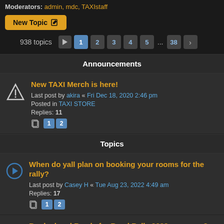Moderators: admin, mdc, TAXIstaff
New Topic
938 topics  1 2 3 4 5 ... 38
Announcements
New TAXI Merch is here! Last post by akira « Fri Dec 18, 2020 2:46 pm Posted in TAXI STORE Replies: 11 Pages: 1 2
Topics
When do yall plan on booking your rooms for the rally? Last post by Casey H « Tue Aug 23, 2022 4:49 am Replies: 17 Pages: 1 2
Booked and Ready for Road Rally 2022... are you? Last post by myk247365 « Sun Aug 21, 2022 12:24 pm Replies: 5